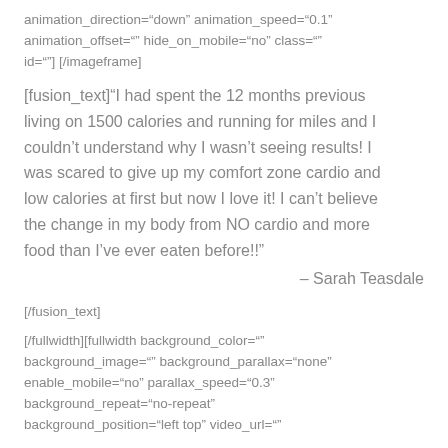animation_direction="down" animation_speed="0.1" animation_offset="" hide_on_mobile="no" class="" id=""] [/imageframe]
[fusion_text]"I had spent the 12 months previous living on 1500 calories and running for miles and I couldn't understand why I wasn't seeing results! I was scared to give up my comfort zone cardio and low calories at first but now I love it! I can't believe the change in my body from NO cardio and more food than I've ever eaten before!!"
– Sarah Teasdale
[/fusion_text]
[/fullwidth][fullwidth background_color="" background_image="" background_parallax="none" enable_mobile="no" parallax_speed="0.3" background_repeat="no-repeat" background_position="left top" video_url=""